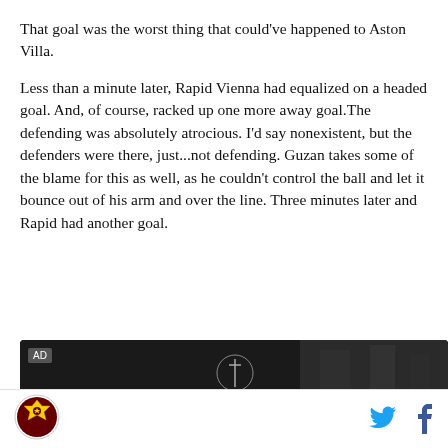That goal was the worst thing that could've happened to Aston Villa.
Less than a minute later, Rapid Vienna had equalized on a headed goal. And, of course, racked up one more away goal.The defending was absolutely atrocious. I'd say nonexistent, but the defenders were there, just...not defending. Guzan takes some of the blame for this as well, as he couldn't control the ball and let it bounce out of his arm and over the line. Three minutes later and Rapid had another goal.
[Figure (other): Advertisement banner showing Lone River Ranch Rita brand with 'AD' label and 'PRESENTED BY' text]
[Figure (logo): Aston Villa circular crest logo in bottom left footer]
[Figure (other): Twitter bird icon (blue) and Facebook 'f' icon (blue) in bottom right footer]